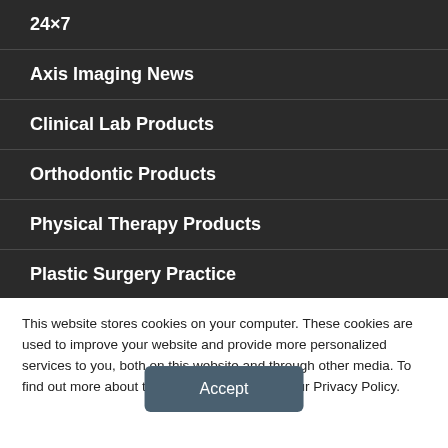24×7
Axis Imaging News
Clinical Lab Products
Orthodontic Products
Physical Therapy Products
Plastic Surgery Practice
Rehab Management
This website stores cookies on your computer. These cookies are used to improve your website and provide more personalized services to you, both on this website and through other media. To find out more about the cookies we use, see our Privacy Policy.
Accept